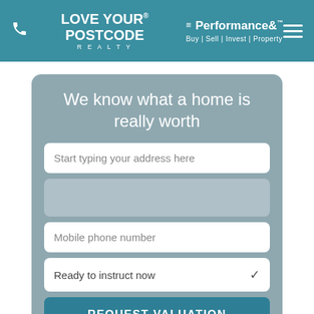LOVE YOUR POSTCODE REALTY | Performance& Buy | Sell | Invest | Property
We know what a home is really worth
Start typing your address here
Mobile phone number
Ready to instruct now
REQUEST VALUATION